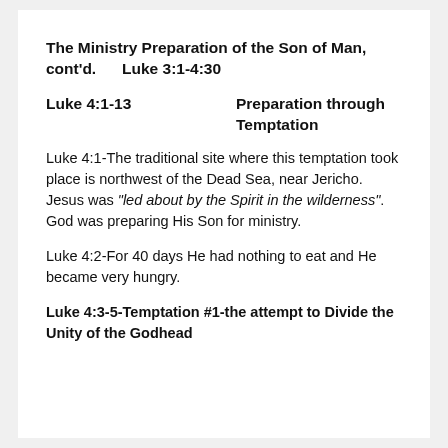The Ministry Preparation of the Son of Man, cont'd.      Luke 3:1-4:30
Luke 4:1-13                    Preparation through Temptation
Luke 4:1-The traditional site where this temptation took place is northwest of the Dead Sea, near Jericho.  Jesus was "led about by the Spirit in the wilderness".  God was preparing His Son for ministry.
Luke 4:2-For 40 days He had nothing to eat and He became very hungry.
Luke 4:3-5-Temptation #1-the attempt to Divide the Unity of the Godhead